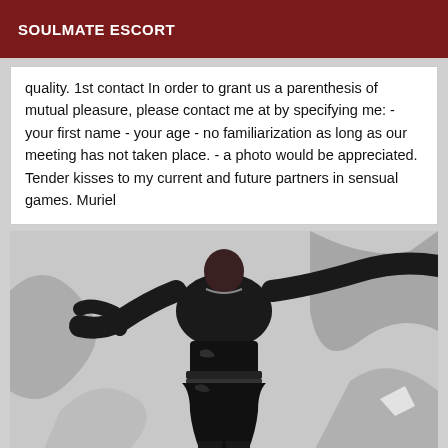SOULMATE ESCORT
quality. 1st contact In order to grant us a parenthesis of mutual pleasure, please contact me at by specifying me: - your first name - your age - no familiarization as long as our meeting has not taken place. - a photo would be appreciated. Tender kisses to my current and future partners in sensual games. Muriel
[Figure (photo): Person wearing black latex/leather outfit posing in front of a graffiti wall]